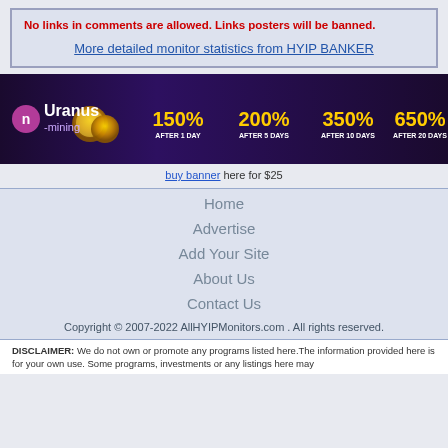No links in comments are allowed. Links posters will be banned.
More detailed monitor statistics from HYIP BANKER
[Figure (infographic): Uranus-mining banner showing investment return rates: 150% After 1 Day, 200% After 5 Days, 350% After 10 Days, 650% After 20 Days on a dark purple background with coin graphics.]
buy banner here for $25
Home
Advertise
Add Your Site
About Us
Contact Us
Copyright © 2007-2022 AllHYIPMonitors.com . All rights reserved.
DISCLAIMER: We do not own or promote any programs listed here.The information provided here is for your own use. Some programs, investments or any listings here may